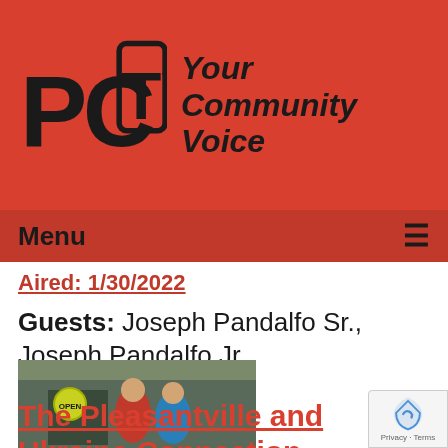[Figure (logo): PCTV logo with text 'Your Community Voice' on red background]
Menu ☰
Aired: 1/30/2022
Guests: Joseph Pandalfo Sr., Joseph Pandalfo Jr.
Watched: 7 times
[Figure (photo): Two people standing outside a store with an OPEN sign]
The Pleasantville and Ukraine Connection